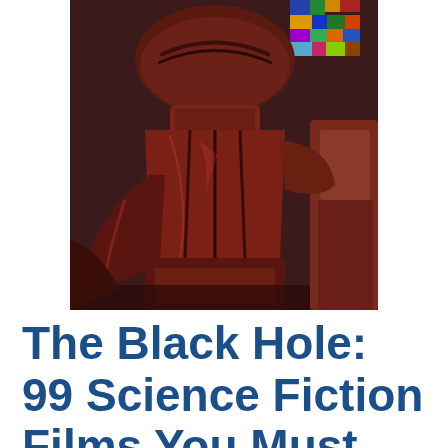[Figure (photo): Close-up photograph of dark red/maroon leather-clad robot or armored suit, showing layered armor panels and mechanical details. In the background, colorful stained glass or decorative panels are partially visible.]
The Black Hole: 99 Science Fiction Films You Must See